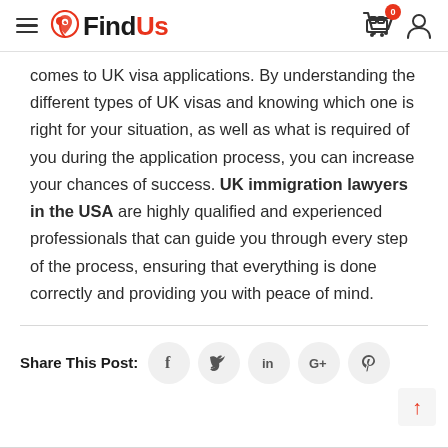FindUs
comes to UK visa applications. By understanding the different types of UK visas and knowing which one is right for your situation, as well as what is required of you during the application process, you can increase your chances of success. UK immigration lawyers in the USA are highly qualified and experienced professionals that can guide you through every step of the process, ensuring that everything is done correctly and providing you with peace of mind.
Share This Post: